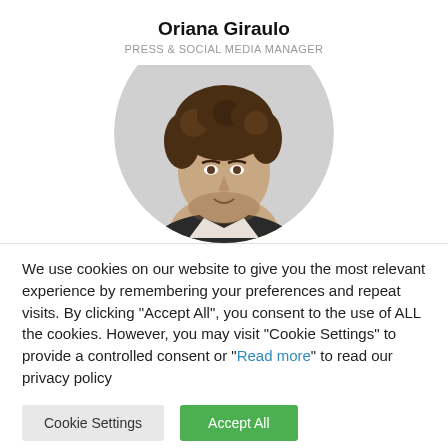Oriana Giraulo
PRESS & SOCIAL MEDIA MANAGER
[Figure (photo): Circular profile photo of a man with curly brown hair and a beard, wearing a dark jacket, against a light grey circular background.]
We use cookies on our website to give you the most relevant experience by remembering your preferences and repeat visits. By clicking "Accept All", you consent to the use of ALL the cookies. However, you may visit "Cookie Settings" to provide a controlled consent or "Read more" to read our privacy policy